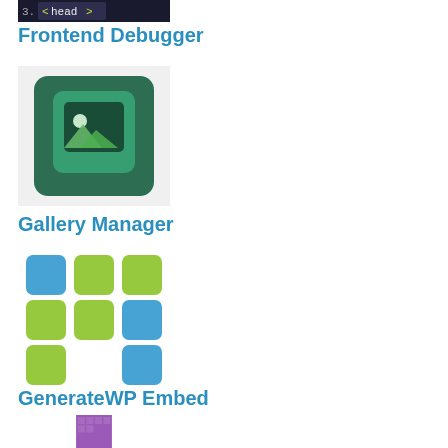[Figure (screenshot): Frontend Debugger plugin icon showing dark code editor with head HTML tag highlighted in green/yellow]
Frontend Debugger
[Figure (illustration): Gallery Manager plugin icon showing a teal/dark green cube with a white landscape image placeholder icon on front]
Gallery Manager
[Figure (logo): GenerateWP Embed plugin icon showing a grid/puzzle pattern of blue and green squares]
GenerateWP Embed
[Figure (screenshot): Generous plugin icon showing a purple background with faint grid/tile pattern]
Generous
[Figure (illustration): Colorful plugin icon showing rainbow-outlined document/page with staircase pattern on corner, green left side, purple right side, yellow/red top steps]